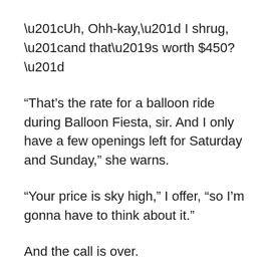“Uh, Ohh-kay,” I shrug, “and that’s worth $450?”
“That’s the rate for a balloon ride during Balloon Fiesta, sir. And I only have a few openings left for Saturday and Sunday,” she warns.
“Your price is sky high,” I offer, “so I’m gonna have to think about it.”
And the call is over.
I turned to Leah. “Looks like my balloon ride